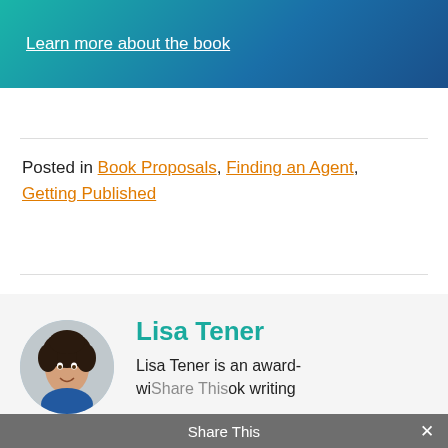Learn more about the book
Posted in Book Proposals, Finding an Agent, Getting Published
[Figure (photo): Circular portrait photo of Lisa Tener, a woman with dark curly hair, smiling, wearing a blue top]
Lisa Tener
Lisa Tener is an award-winning book writing
Share This